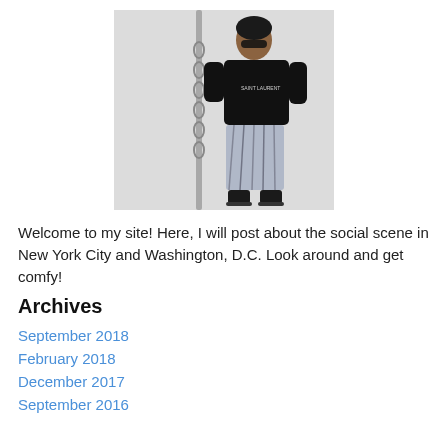[Figure (photo): A person wearing a black sweatshirt with text and patterned pants, holding a pole, standing in front of a white wall.]
Welcome to my site! Here, I will post about the social scene in New York City and Washington, D.C.  Look around and get comfy!
Archives
September 2018
February 2018
December 2017
September 2016